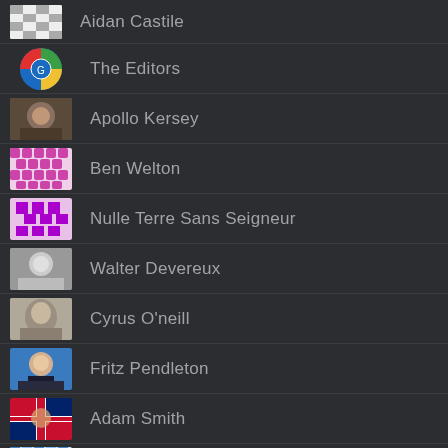Aidan Castile
The Editors
Apollo Kersey
Ben Welton
Nulle Terre Sans Seigneur
Walter Devereux
Cyrus O'neill
Fritz Pendleton
Adam Smith
Nightmare Vision